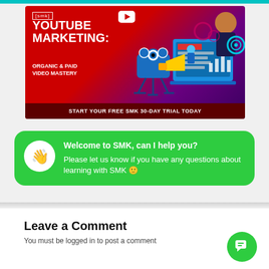[Figure (illustration): YouTube Marketing: Organic & Paid Video Mastery course banner with red-to-purple gradient background, animated characters, camera graphic, laptop screen, SMK logo, YouTube play button icon, and footer text: START YOUR FREE SMK 30-DAY TRIAL TODAY]
Welcome to SMK, can I help you?
Please let us know if you have any questions about learning with SMK 🙂
Leave a Comment
You must be logged in to post a comment